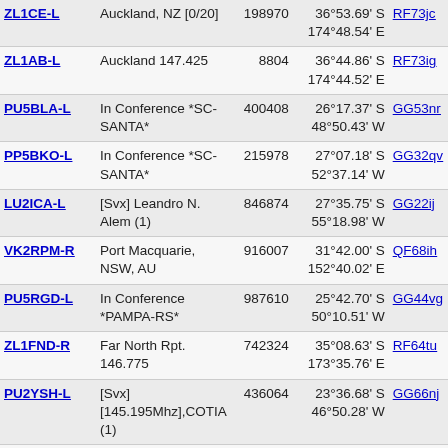| Callsign | Location | ID | Coordinates | Grid | Dist |
| --- | --- | --- | --- | --- | --- |
| ZL1CE-L | Auckland, NZ [0/20] | 198970 | 36°53.69' S 174°48.54' E | RF73jc | 4418.5 |
| ZL1AB-L | Auckland 147.425 | 8804 | 36°44.86' S 174°44.52' E | RF73ig | 4427.7 |
| PU5BLA-L | In Conference *SC-SANTA* | 400408 | 26°17.37' S 48°50.43' W | GG53nr | 4448.1 |
| PP5BKO-L | In Conference *SC-SANTA* | 215978 | 27°07.18' S 52°37.14' W | GG32qv | 4457.7 |
| LU2ICA-L | [Svx] Leandro N. Alem (1) | 846874 | 27°35.75' S 55°18.98' W | GG22ij | 4471.8 |
| VK2RPM-R | Port Macquarie, NSW, AU | 916007 | 31°42.00' S 152°40.02' E | QF68ih | 4478.3 |
| PU5RGD-L | In Conference *PAMPA-RS* | 987610 | 25°42.70' S 50°10.51' W | GG44vg | 4509.5 |
| ZL1FND-R | Far North Rpt. 146.775 | 742324 | 35°08.63' S 173°35.76' E | RF64tu | 4523.8 |
| PU2YSH-L | [Svx] [145.195Mhz],COTIA (1) | 436064 | 23°36.68' S 46°50.28' W | GG66nj | 4591.7 |
| PY2KRU-R | I T A P E V A 439.4 (1) | 696964 | 24°06.00' S 48°48.00' W | GG55ov | 4593.0 |
| PY2ZEN-L | SaoJoseDosCampos 144.950 Mc | 220538 | 23°11.75' S 45°53.01' W | GG76bt | 4602.9 |
| PU1VFO-L | In Conference *PAMPA-RS* | 765573 | 22°28.00' S 43°50.02' W | GG87bm | 4616.0 |
| PY4EI-R | In Conference *BRAZLERO* | 568729 | 22°51.05' S 46°19.00' W | GG67ud | 4633.3 |